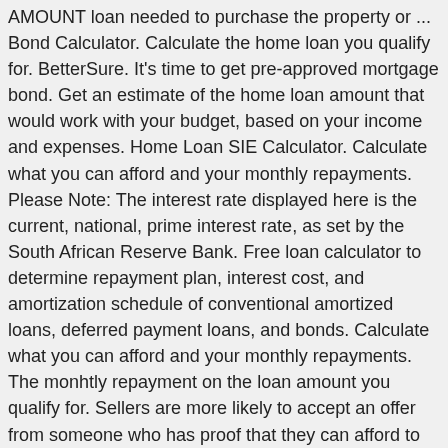AMOUNT loan needed to purchase the property or ... Bond Calculator. Calculate the home loan you qualify for. BetterSure. It's time to get pre-approved mortgage bond. Get an estimate of the home loan amount that would work with your budget, based on your income and expenses. Home Loan SIE Calculator. Calculate what you can afford and your monthly repayments. Please Note: The interest rate displayed here is the current, national, prime interest rate, as set by the South African Reserve Bank. Free loan calculator to determine repayment plan, interest cost, and amortization schedule of conventional amortized loans, deferred payment loans, and bonds. Calculate what you can afford and your monthly repayments. The monhtly repayment on the loan amount you qualify for. Sellers are more likely to accept an offer from someone who has proof that they can afford to buy. This is where the “Bond Calculator” tool comes in. Upload your documents 24/7/365 and we’ll capture everything for you! Let us help you find a suitable home and understand which home loans solution will work for you. Calculate Disclaimer. Searching For Bond Repayment Calculator Sa Home Loans Conseco Mobile Home loans How Repo Home loans Foid Web How To Get A Va Mortgage...